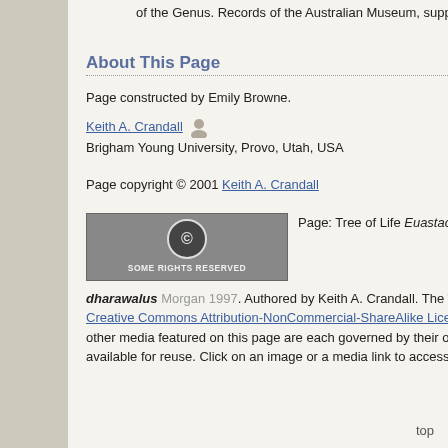of the Genus. Records of the Australian Museum, supplement 23.
About This Page
Page constructed by Emily Browne.
Keith A. Crandall
Brigham Young University, Provo, Utah, USA
Page copyright © 2001 Keith A. Crandall
[Figure (logo): Creative Commons Some Rights Reserved badge]
Page: Tree of Life Euastacus dharawalus Morgan 1997. Authored by Keith A. Crandall. The TEXT of this page is licensed under the Creative Commons Attribution-NonCommercial-ShareAlike License - Version 3.0. Note that images and other media featured on this page are each governed by their own license, and they may or may not be available for reuse. Click on an image or a media link to access the media data window, which provides